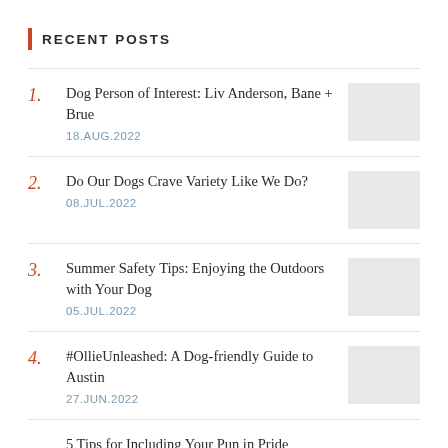RECENT POSTS
Dog Person of Interest: Liv Anderson, Bane + Brue — 18.AUG.2022
Do Our Dogs Crave Variety Like We Do? — 08.JUL.2022
Summer Safety Tips: Enjoying the Outdoors with Your Dog — 05.JUL.2022
#OllieUnleashed: A Dog-friendly Guide to Austin — 27.JUN.2022
5 Tips for Including Your Pun in Pride